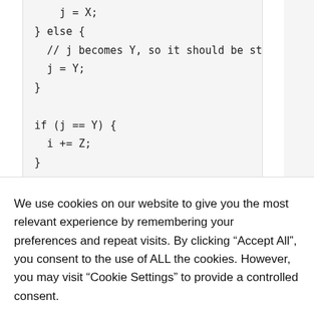j = X;
} else {
  // j becomes Y, so it should be st
  j = Y;
}

if (j == Y) {
  i += Z;
}
We use cookies on our website to give you the most relevant experience by remembering your preferences and repeat visits. By clicking “Accept All”, you consent to the use of ALL the cookies. However, you may visit "Cookie Settings" to provide a controlled consent.